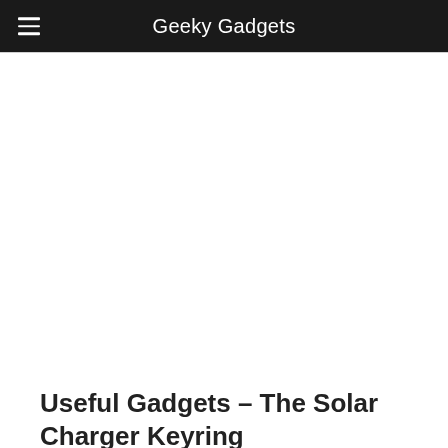Geeky Gadgets
Useful Gadgets – The Solar Charger Keyring
1:51 pm July 11, 2008 By Roland Hutchinson